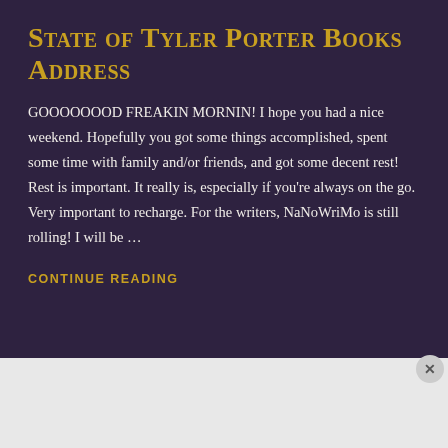State of Tyler Porter Books Address
GOOOOOOOD FREAKIN MORNIN! I hope you had a nice weekend. Hopefully you got some things accomplished, spent some time with family and/or friends, and got some decent rest! Rest is important. It really is, especially if you're always on the go. Very important to recharge. For the writers, NaNoWriMo is still rolling! I will be …
CONTINUE READING
[Figure (screenshot): DuckDuckGo advertisement banner: orange left panel reading 'Search, browse, and email with more privacy. All in One Free App' and dark right panel with DuckDuckGo logo and name.]